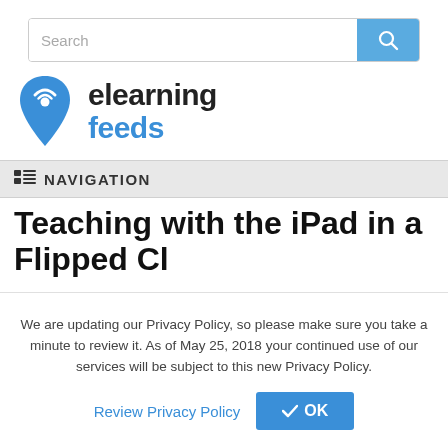[Figure (screenshot): Search bar with text input and blue search button with magnifying glass icon]
[Figure (logo): elearning feeds logo with blue WiFi-signal drop-pin icon and bold text 'elearning feeds']
NAVIGATION
Teaching with the iPad in a Flipped Cl...
We are updating our Privacy Policy, so please make sure you take a minute to review it. As of May 25, 2018 your continued use of our services will be subject to this new Privacy Policy.
Review Privacy Policy  ✔ OK